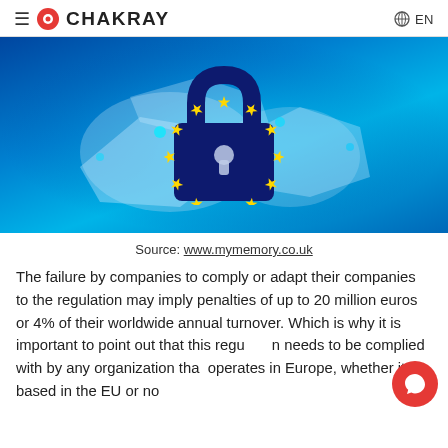≡ CHAKRAY  EN
[Figure (illustration): Blue background image with a dark blue padlock overlaid on a glowing map of Europe, with 12 yellow stars arranged in a circle on the padlock body (EU flag motif).]
Source: www.mymemory.co.uk
The failure by companies to comply or adapt their companies to the regulation may imply penalties of up to 20 million euros or 4% of their worldwide annual turnover. Which is why it is important to point out that this regulation needs to be complied with by any organization that operates in Europe, whether it is based in the EU or not